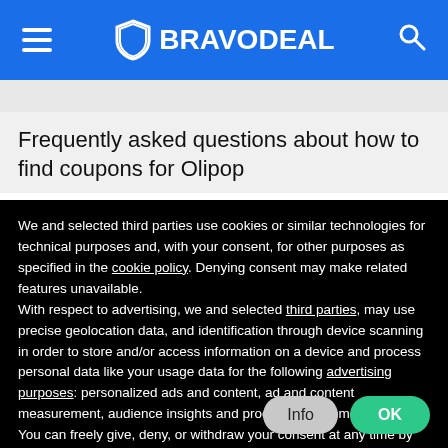BRAVODEAL
Frequently asked questions about how to find coupons for Olipop
We and selected third parties use cookies or similar technologies for technical purposes and, with your consent, for other purposes as specified in the cookie policy. Denying consent may make related features unavailable.
With respect to advertising, we and selected third parties, may use precise geolocation data, and identification through device scanning in order to store and/or access information on a device and process personal data like your usage data for the following advertising purposes: personalized ads and content, ad and content measurement, audience insights and product development.
You can freely give, deny, or withdraw your consent at any time by accessing the preferences panel.
You can consent to the use of such technologies by using the “OK” button or by continuing to browse otherwise.